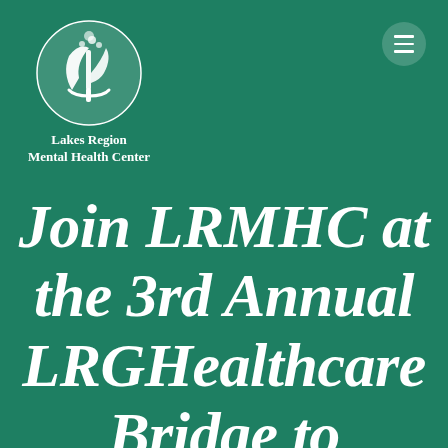[Figure (logo): Lakes Region Mental Health Center circular logo with tree/leaf design in white on green background, with text 'Lakes Region Mental Health Center' below]
Join LRMHC at the 3rd Annual LRGHealthcare Bridge to